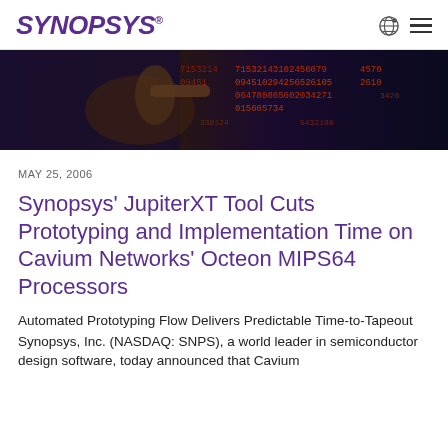SYNOPSYS®
[Figure (photo): Close-up photo of a hand pointing at a dark screen showing streams of red and orange binary/numeric code data]
MAY 25, 2006
Synopsys' JupiterXT Tool Cuts Prototyping and Implementation Time on Cavium Networks' Octeon MIPS64 Processors
Automated Prototyping Flow Delivers Predictable Time-to-Tapeout
Synopsys, Inc. (NASDAQ: SNPS), a world leader in semiconductor design software, today announced that Cavium